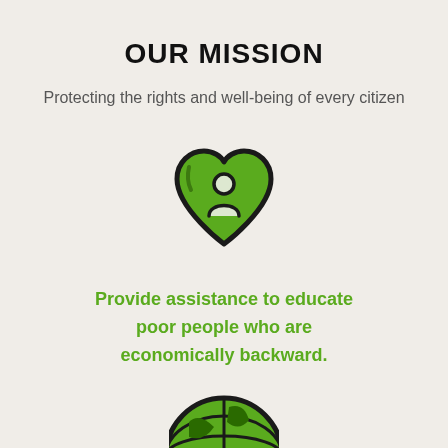OUR MISSION
Protecting the rights and well-being of every citizen
[Figure (illustration): Green heart icon with a person/human silhouette inside it, outlined in dark/black strokes]
Provide assistance to educate poor people who are economically backward.
[Figure (illustration): Globe/earth icon partially visible at the bottom, green and dark colored, cropped at the bottom edge]